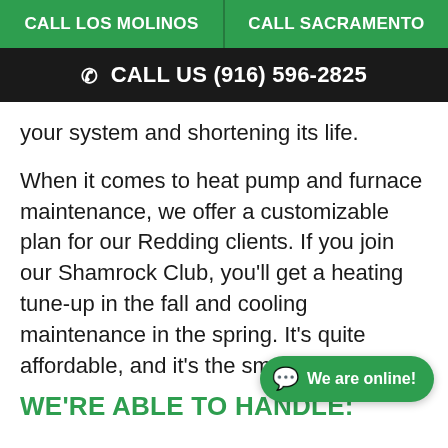CALL LOS MOLINOS | CALL SACRAMENTO
CALL US (916) 596-2825
your system and shortening its life.
When it comes to heat pump and furnace maintenance, we offer a customizable plan for our Redding clients. If you join our Shamrock Club, you'll get a heating tune-up in the fall and cooling maintenance in the spring. It's quite affordable, and it's the smart thing to do.
WE'RE ABLE TO HANDLE:
We are online!